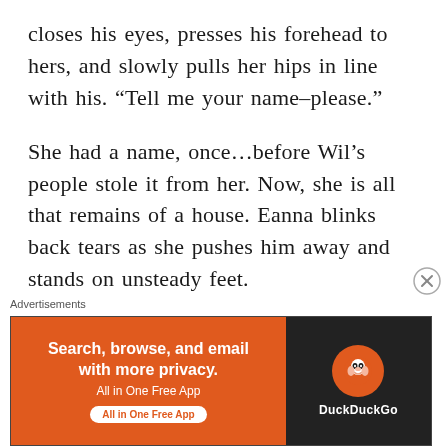closes his eyes, presses his forehead to hers, and slowly pulls her hips in line with his. “Tell me your name–please.”
She had a name, once…before Wil’s people stole it from her. Now, she is all that remains of a house. Eanna blinks back tears as she pushes him away and stands on unsteady feet.
“Wait, take it easy, liobôn. I didn’t mean to frighten you.” He grunts as he pushes into a sitting position and pulls the fur around his
[Figure (other): DuckDuckGo advertisement banner: orange left panel with text 'Search, browse, and email with more privacy. All in One Free App' and dark right panel with DuckDuckGo logo and name. An X close button appears to the upper right.]